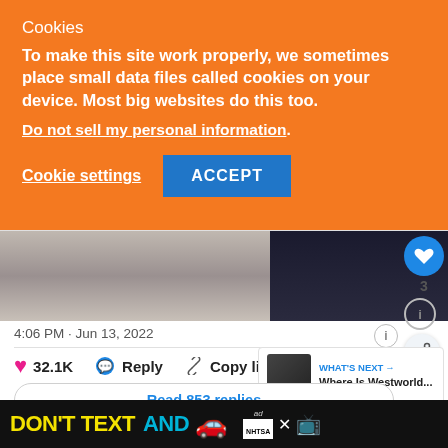Cookies
To make this site work properly, we sometimes place small data files called cookies on your device. Most big websites do this too.
Do not sell my personal information.
Cookie settings  ACCEPT
[Figure (screenshot): Partial screenshot of a social media post showing two cropped images of people, a timestamp '4:06 PM · Jun 13, 2022', like count 32.1K, Reply and Copy link buttons, and a 'Read 853 replies' button. Side panel shows 'WHAT'S NEXT → Where Is Westworld...']
[Figure (infographic): Ad banner: DON'T TEXT AND [car emoji] with NHTSA logo and close button]